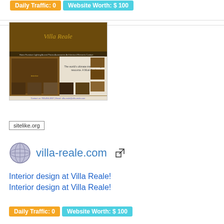Daily Traffic: 0   Website Worth: $ 100
[Figure (screenshot): Screenshot of villa-reale.com website showing interior design imagery with ornate furniture, chandeliers, and decorative items]
sitelike.org
villa-reale.com
Interior design at Villa Reale!
Interior design at Villa Reale!
Daily Traffic: 0   Website Worth: $ 100